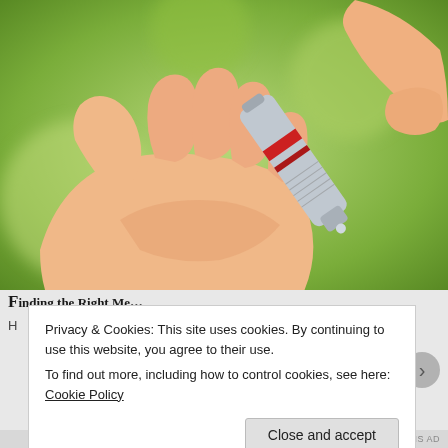[Figure (photo): Close-up photo of a hand being pricked at the fingertip by a lancet pen device for blood glucose testing, with a green blurred background.]
Finding the Right Meter for Your B&B...
Privacy & Cookies: This site uses cookies. By continuing to use this website, you agree to their use. To find out more, including how to control cookies, see here: Cookie Policy
Close and accept
NEXT THIS AD